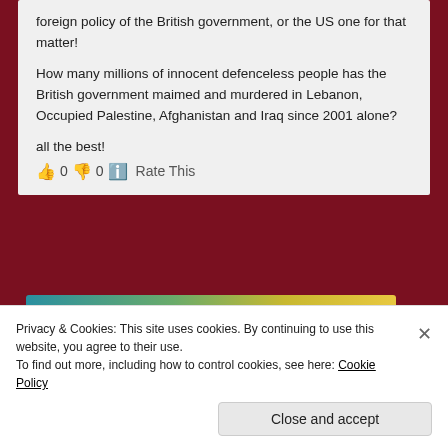foreign policy of the British government, or the US one for that matter!

How many millions of innocent defenceless people has the British government maimed and murdered in Lebanon, Occupied Palestine, Afghanistan and Iraq since 2001 alone?

all the best!
👍 0 👎 0 ℹ Rate This
[Figure (screenshot): Advertisement banner with gradient background (teal to yellow-green), text 'Create immersive stories.' on left, 'GET THE APP' with WordPress logo on right]
REPORT THIS AD
[Figure (illustration): Teal circular avatar icon showing a person silhouette]
Privacy & Cookies: This site uses cookies. By continuing to use this website, you agree to their use.
To find out more, including how to control cookies, see here: Cookie Policy
Close and accept